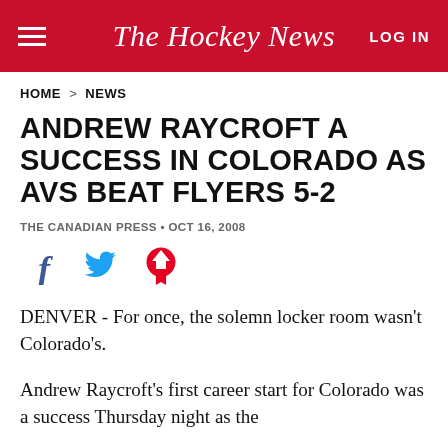The Hockey News
HOME > NEWS
ANDREW RAYCROFT A SUCCESS IN COLORADO AS AVS BEAT FLYERS 5-2
THE CANADIAN PRESS • OCT 16, 2008
DENVER - For once, the solemn locker room wasn't Colorado's.
Andrew Raycroft's first career start for Colorado was a success Thursday night as the former Toronto goaltender helped the